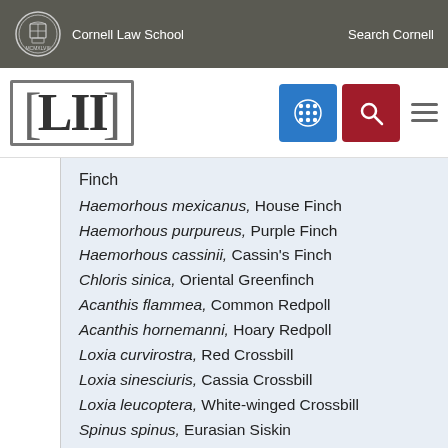Cornell Law School   Search Cornell
[Figure (logo): LII Legal Information Institute logo with Cornell Law School branding, search and menu icons]
Finch
Haemorhous mexicanus, House Finch
Haemorhous purpureus, Purple Finch
Haemorhous cassinii, Cassin's Finch
Chloris sinica, Oriental Greenfinch
Acanthis flammea, Common Redpoll
Acanthis hornemanni, Hoary Redpoll
Loxia curvirostra, Red Crossbill
Loxia sinesciuris, Cassia Crossbill
Loxia leucoptera, White-winged Crossbill
Spinus spinus, Eurasian Siskin
Spinus pinus, Pine Siskin
Spinus psaltria, Lesser Goldfinch
Spinus lawrencei, Lawrence's Goldfinch
Spinus tristis, American Goldfinch
Family CALCARIIDAE